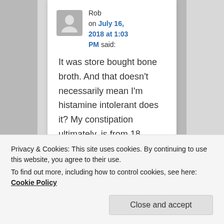[Figure (illustration): Gray avatar silhouette icon for user Rob]
Rob on July 16, 2018 at 1:03 PM said:
It was store bought bone broth. And that doesn't necessarily mean I'm histamine intolerant does it? My constipation ultimately, is from 18 months of severe
Privacy & Cookies: This site uses cookies. By continuing to use this website, you agree to their use.
To find out more, including how to control cookies, see here: Cookie Policy